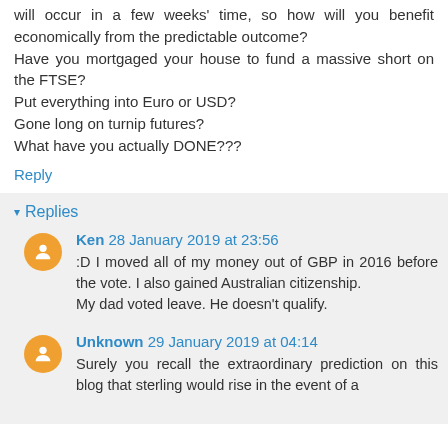will occur in a few weeks' time, so how will you benefit economically from the predictable outcome?
Have you mortgaged your house to fund a massive short on the FTSE?
Put everything into Euro or USD?
Gone long on turnip futures?
What have you actually DONE???
Reply
Replies
Ken 28 January 2019 at 23:56
:D I moved all of my money out of GBP in 2016 before the vote. I also gained Australian citizenship.
My dad voted leave. He doesn't qualify.
Unknown 29 January 2019 at 04:14
Surely you recall the extraordinary prediction on this blog that sterling would rise in the event of a